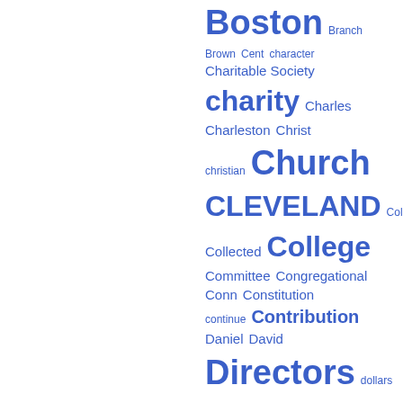[Figure (other): Word cloud showing index terms in varying sizes (proportional to frequency) in blue. Words visible include: Boston, Branch, Brown, Cent, character, Charitable Society, charity, Charles, Charleston, Christ, christian, Church, CLEVELAND, Coll, Collected, College, Committee, Congregational, Conn, Constitution, continue, Contribution, Daniel, David, Directors, dollars, Education Society, Edward, efforts, examined, exertions, feel, Female, field, five, formed, Friend]